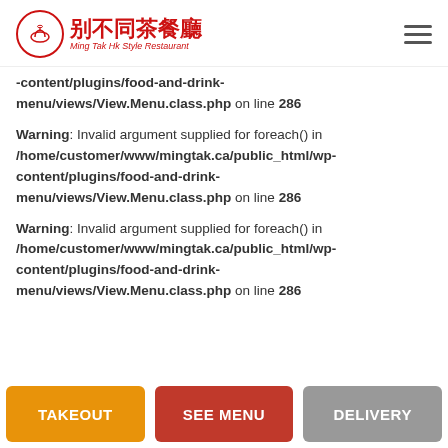别不同茶餐廳 Ming Tak Hk Style Restaurant
-content/plugins/food-and-drink-menu/views/View.Menu.class.php on line 286
Warning: Invalid argument supplied for foreach() in /home/customer/www/mingtak.ca/public_html/wp-content/plugins/food-and-drink-menu/views/View.Menu.class.php on line 286
Warning: Invalid argument supplied for foreach() in /home/customer/www/mingtak.ca/public_html/wp-content/plugins/food-and-drink-menu/views/View.Menu.class.php on line 286
TAKEOUT | SEE MENU | DELIVERY